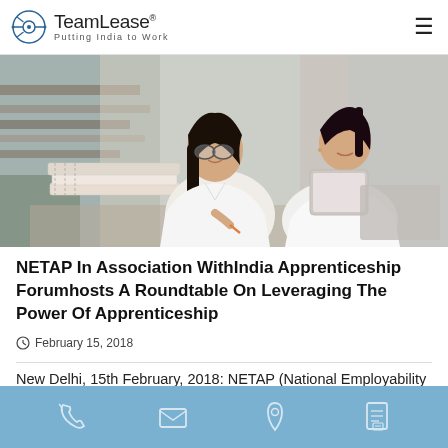TeamLease® — Putting India to Work
[Figure (photo): Two young women studying together; one with glasses writing in a notebook with stacked books, the other holding a tablet and laptop, in a library setting.]
NETAP In Association WithIndia Apprenticeship Forumhosts A Roundtable On Leveraging The Power Of Apprenticeship
February 15, 2018
New Delhi, 15th February, 2018: NETAP (National Employability through Apprenticeship Program), a